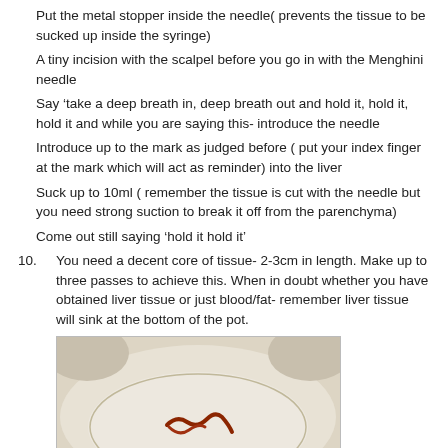Put the metal stopper inside the needle( prevents the tissue to be sucked up inside the syringe)
A tiny incision with the scalpel before you go in with the Menghini needle
Say 'take a deep breath in, deep breath out and hold it, hold it, hold it and while you are saying this- introduce the needle
Introduce up to the mark as judged before ( put your index finger at the mark which will act as reminder) into the liver
Suck up to 10ml ( remember the tissue is cut with the needle but you need strong suction to break it off from the parenchyma)
Come out still saying ‘hold it hold it’
10. You need a decent core of tissue- 2-3cm in length. Make up to three passes to achieve this. When in doubt whether you have obtained liver tissue or just blood/fat- remember liver tissue will sink at the bottom of the pot.
[Figure (photo): Photograph of a white dish/pot containing what appears to be a small reddish-brown liver tissue core specimen, used to illustrate that liver tissue sinks to the bottom of the pot.]